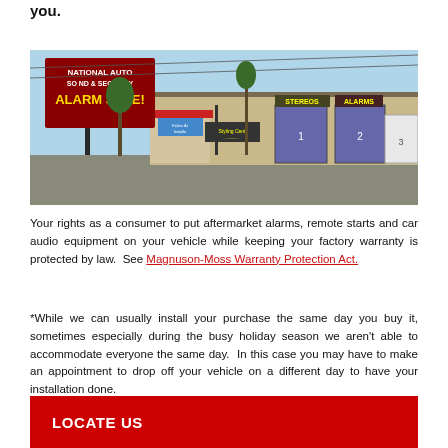you.
[Figure (photo): Exterior photo of National Auto Sound & Security store with a sign reading 'ALARM SALE!' in yellow letters, storefront showing 'STEREOS' and 'ALARMS' signs, and garage-style installation bays.]
Your rights as a consumer to put aftermarket alarms, remote starts and car audio equipment on your vehicle while keeping your factory warranty is protected by law. See Magnuson-Moss Warranty Protection Act.
*While we can usually install your purchase the same day you buy it, sometimes especially during the busy holiday season we aren't able to accommodate everyone the same day. In this case you may have to make an appointment to drop off your vehicle on a different day to have your installation done.
LOCATE US